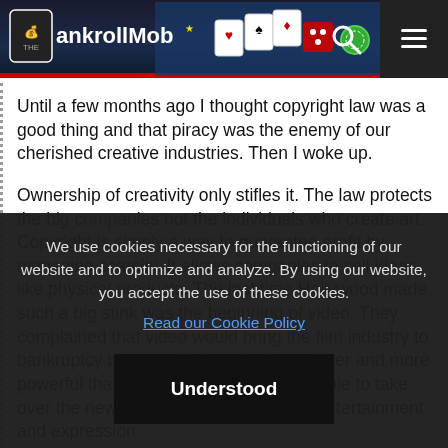The BankrollMob
Until a few months ago I thought copyright law was a good thing and that piracy was the enemy of our cherished creative industries. Then I woke up.
Ownership of creativity only stifles it. The law protects the big companies not the individuals who create art. Copyright is simply a way to guarantee profit by managing scarcity. It allows companies to sell ideas like physical products. The last time Hollywood made such a big stink was the beginning of video. They complained that video would bring the film industry to bankruptcy but actually it made them richer and more powerful than ever because they were able to take over the new industry and monopolize entertainment and expression
We use cookies necessary for the functioning of our website and to optimize and analyze. By using our website, you accept the use of these cookies.
Read our Cookie Policy
Understood